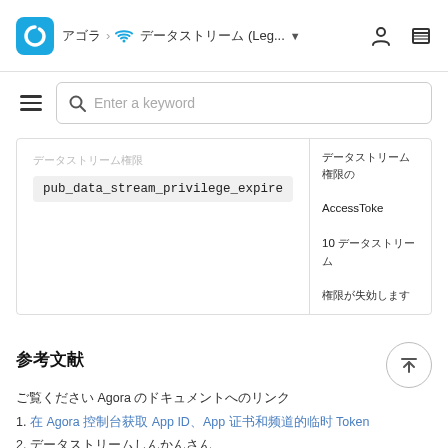アゴラ > データストリーム (Leg... ▼
[Figure (screenshot): Search bar with hamburger menu icon and keyword search input placeholder]
|  |  |
| --- | --- |
| pub_data_stream_privilege_expire | データストリーム権限の AccessToken 10 分後に失効する |
参考文献
Agora Agora のドキュメントへ
1. 在 Agora 控制台获取 App ID、App 证书和频道的临时 Token
2. データストリームしんかんさん